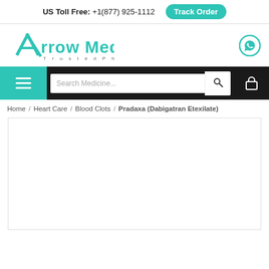US Toll Free: +1(877) 925-1112  Track Order
[Figure (logo): Arrow Meds Trusted Pharmacy logo with teal color]
[Figure (other): WhatsApp icon circle]
Search Medicine...
Home / Heart Care / Blood Clots / Pradaxa (Dabigatran Etexilate)
[Figure (photo): Product image area for Pradaxa (Dabigatran Etexilate) - white/blank box]